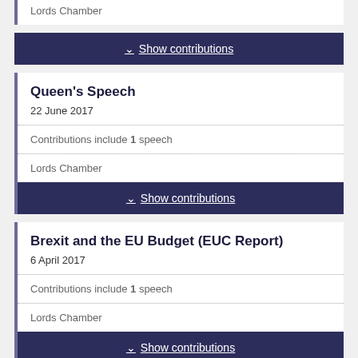Lords Chamber
Show contributions
Queen's Speech
22 June 2017
Contributions include 1 speech
Lords Chamber
Show contributions
Brexit and the EU Budget (EUC Report)
6 April 2017
Contributions include 1 speech
Lords Chamber
Show contributions